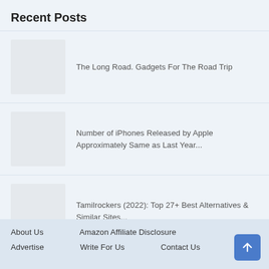Recent Posts
The Long Road. Gadgets For The Road Trip
Number of iPhones Released by Apple Approximately Same as Last Year...
Tamilrockers (2022): Top 27+ Best Alternatives & Similar Sites...
About Us   Amazon Affiliate Disclosure   Advertise   Write For Us   Contact Us